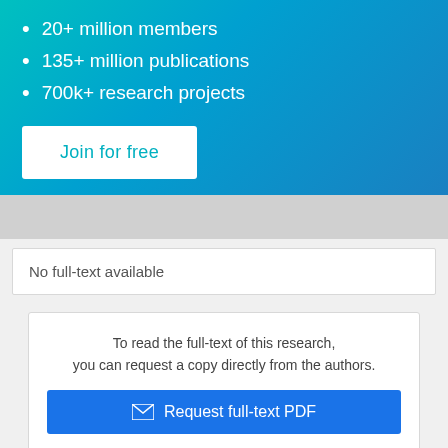20+ million members
135+ million publications
700k+ research projects
Join for free
No full-text available
To read the full-text of this research, you can request a copy directly from the authors.
Request full-text PDF